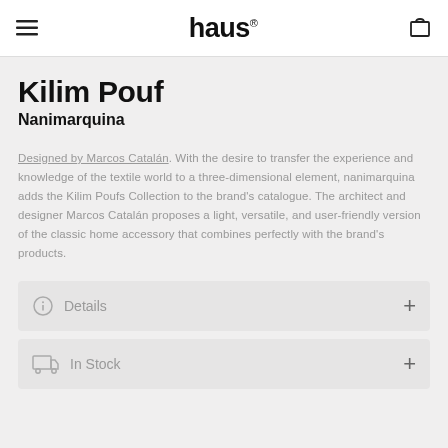haus®
Kilim Pouf
Nanimarquina
Designed by Marcos Catalán. With the desire to transfer the experience and knowledge of the textile world to a three-dimensional element, nanimarquina adds the Kilim Poufs Collection to the brand's catalogue. The architect and designer Marcos Catalán proposes a light, versatile, and user-friendly version of the classic home accessory that combines perfectly with the brand's products.
Details
In Stock